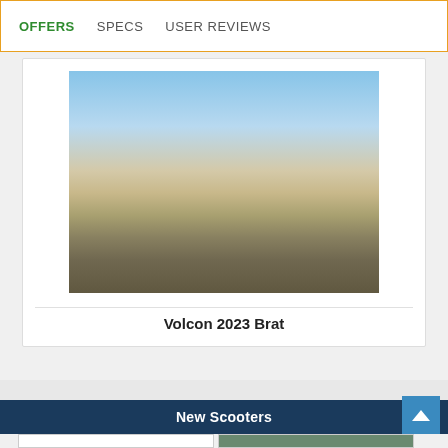OFFERS   SPECS   USER REVIEWS
[Figure (photo): Photo of a dark/black electric motorcycle (Volcon 2023 Brat) parked outdoors near a table with people socializing in the background]
Volcon 2023 Brat
New Scooters
[Figure (photo): Partial view of a scooter product card (left) — small scooter image visible]
[Figure (photo): Partial view of a scooter product card (right) — green/outdoor image visible]